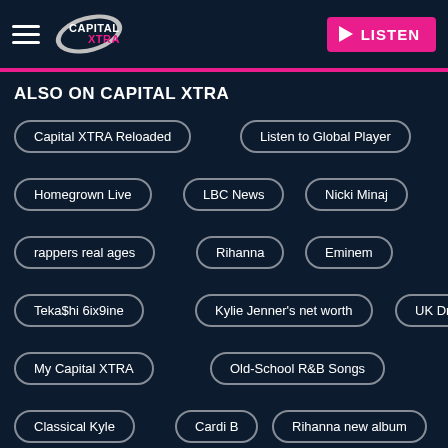[Figure (logo): Capital XTRA radio station logo with hamburger menu icon on dark navy background]
LISTEN
ALSO ON CAPITAL XTRA
Capital XTRA Reloaded
Listen to Global Player
Homegrown Live
LBC News
Nicki Minaj
rappers real ages
Rihanna
Eminem
Teka$hi 6ix9ine
Kylie Jenner's net worth
UK Drill
My Capital XTRA
Old-School R&B Songs
Classical Kyle
Cardi B
Rihanna new album